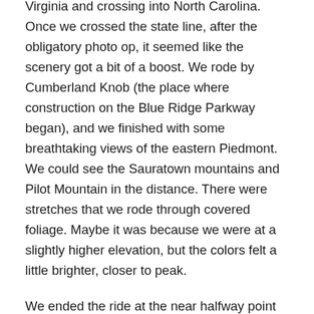The most significant achievement of the day was leaving Virginia and crossing into North Carolina. Once we crossed the state line, after the obligatory photo op, it seemed like the scenery got a bit of a boost. We rode by Cumberland Knob (the place where construction on the Blue Ridge Parkway began), and we finished with some breathtaking views of the eastern Piedmont. We could see the Sauratown mountains and Pilot Mountain in the distance. There were stretches that we rode through covered foliage. Maybe it was because we were at a slightly higher elevation, but the colors felt a little brighter, closer to peak.
We ended the ride at the near halfway point in terms of mileage, although given the higher elevations that await us in the High Country and beyond, there's harder work to be done in the days ahead.